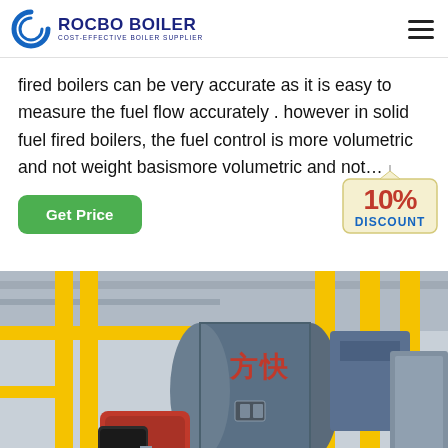ROCBO BOILER — COST-EFFECTIVE BOILER SUPPLIER
fired boilers can be very accurate as it is easy to measure the fuel flow accurately . however in solid fuel fired boilers, the fuel control is more volumetric and not weight basismore volumetric and not…
[Figure (other): Green 'Get Price' button with a '10% DISCOUNT' badge tag hanging in top-right corner]
[Figure (photo): Industrial boiler room showing a large cylindrical blue boiler with Chinese characters, yellow pipes/railings, red burner unit, and various industrial equipment]